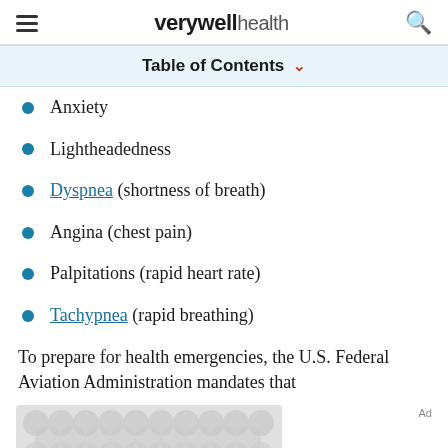verywell health
Table of Contents
Anxiety
Lightheadedness
Dyspnea (shortness of breath)
Angina (chest pain)
Palpitations (rapid heart rate)
Tachypnea (rapid breathing)
To prepare for health emergencies, the U.S. Federal Aviation Administration mandates that
[Figure (other): Advertisement placeholder with grey blob/circle pattern]